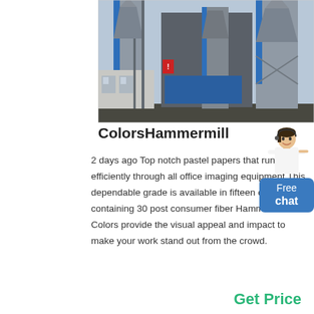[Figure (photo): Industrial facility with large grey silos and blue structural columns, small building at left, dark ground foreground]
ColorsHammermill
2 days ago Top notch pastel papers that run efficiently through all office imaging equipment This dependable grade is available in fifteen colors all containing 30 post consumer fiber Hammermill Colors provide the visual appeal and impact to make your work stand out from the crowd.
Get Price
[Figure (illustration): Free chat widget with avatar of a woman in white coat and blue chat button labeled 'Free chat']